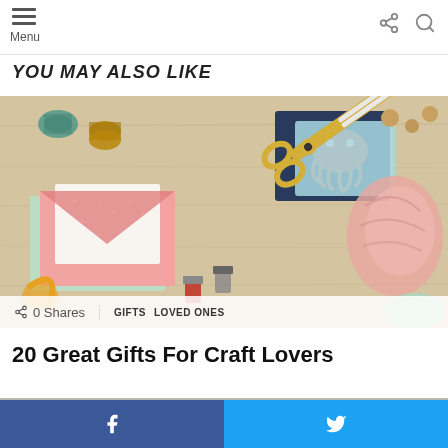Menu
YOU MAY ALSO LIKE
[Figure (photo): Craft supplies flat lay on a wooden surface: envelopes, scissors with gold handles, yarn, thread spools, binder clips, beads, and postcards with octopus illustration]
0 Shares
GIFTS  LOVED ONES
20 Great Gifts For Craft Lovers
[Figure (photo): Partial second article image, cropped at bottom of page]